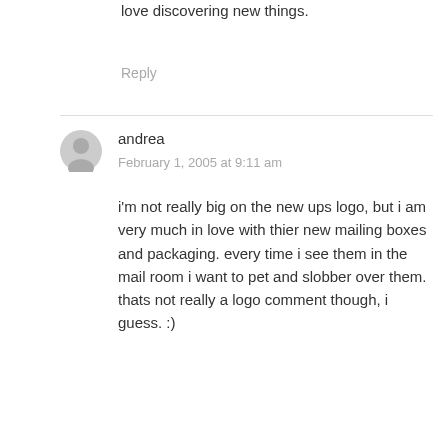love discovering new things.
Reply
andrea
February 1, 2005 at 9:11 am
i'm not really big on the new ups logo, but i am very much in love with thier new mailing boxes and packaging. every time i see them in the mail room i want to pet and slobber over them.
thats not really a logo comment though, i guess. :)